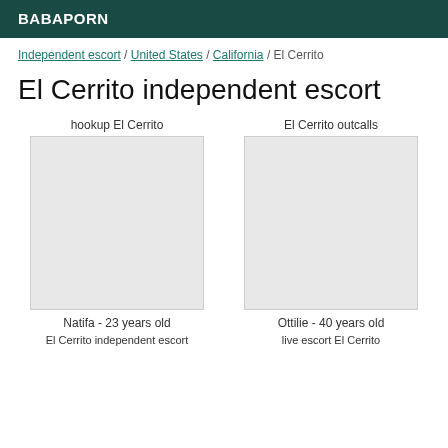BABAPORN
Independent escort / United States / California / El Cerrito
El Cerrito independent escort
hookup El Cerrito
El Cerrito outcalls
[Figure (photo): Photo placeholder for Natifa]
[Figure (photo): Photo placeholder for Ottilie]
Natifa - 23 years old
Ottilie - 40 years old
El Cerrito independent escort
live escort El Cerrito